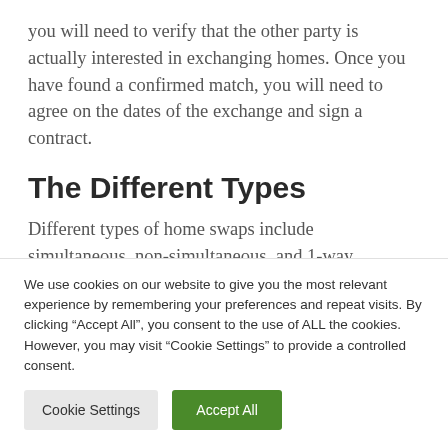you will need to verify that the other party is actually interested in exchanging homes. Once you have found a confirmed match, you will need to agree on the dates of the exchange and sign a contract.
The Different Types
Different types of home swaps include simultaneous, non-simultaneous, and 1-way
We use cookies on our website to give you the most relevant experience by remembering your preferences and repeat visits. By clicking “Accept All”, you consent to the use of ALL the cookies. However, you may visit “Cookie Settings” to provide a controlled consent.
Cookie Settings | Accept All